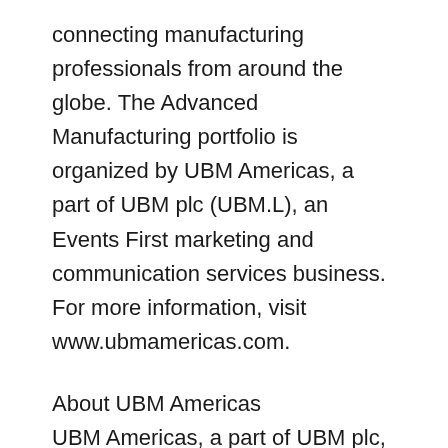connecting manufacturing professionals from around the globe. The Advanced Manufacturing portfolio is organized by UBM Americas, a part of UBM plc (UBM.L), an Events First marketing and communication services business. For more information, visit www.ubmamericas.com.
About UBM Americas
UBM Americas, a part of UBM plc, is the largest business-to-business events and trade show organizer in the U.S. Through a range of aligned interactive physical and digital environments, UBM Americas increases business effectiveness for both customers and audiences by cultivating meaningful experiences, knowledge and